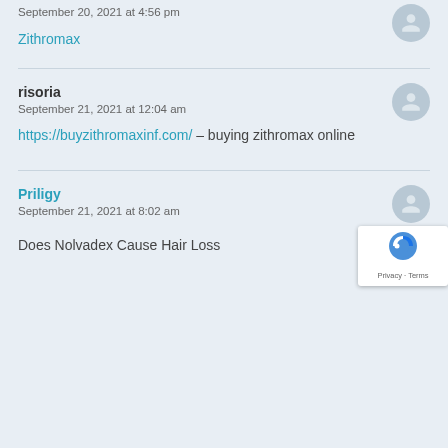September 20, 2021 at 4:56 pm
Zithromax
risoria
September 21, 2021 at 12:04 am
https://buyzithromaxinf.com/ – buying zithromax online
Priligy
September 21, 2021 at 8:02 am
Does Nolvadex Cause Hair Loss